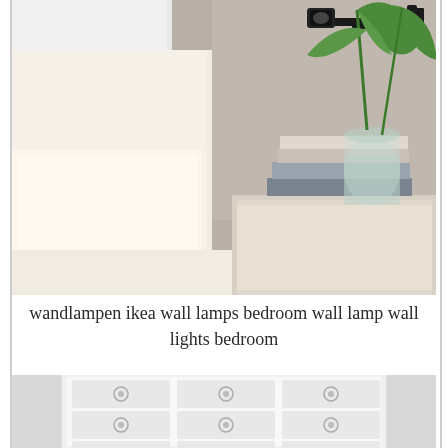[Figure (photo): A bedroom scene showing a white pillow and headboard on the left, a black wall-mounted adjustable arm lamp with spotlight at the top, a bedside table on the right with stacked books and a glass vase with green tropical leaves, set against a light gray wall.]
wandlampen ikea wall lamps bedroom wall lamp wall lights bedroom
[Figure (photo): A white dresser or chest of drawers with multiple drawers featuring small round handles, partially visible at the bottom of the page.]